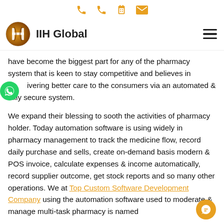IIH Global — navigation header with phone, calendar, and email icons
have become the biggest part for any of the pharmacy system that is keen to stay competitive and believes in delivering better care to the consumers via an automated & fully secure system.
We expand their blessing to sooth the activities of pharmacy holder. Today automation software is using widely in pharmacy management to track the medicine flow, record daily purchase and sells, create on-demand basis modern & POS invoice, calculate expenses & income automatically, record supplier outcome, get stock reports and so many other operations. We at Top Custom Software Development Company using the automation software used to moderate & manage multi-task pharmacy is named